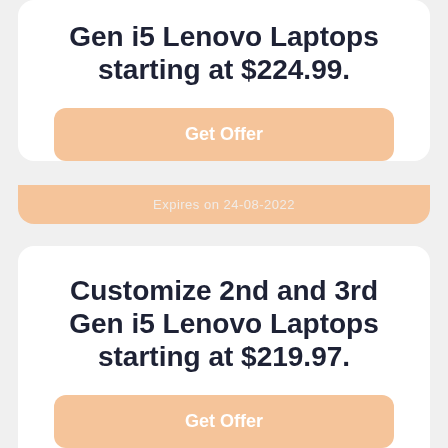Gen i5 Lenovo Laptops starting at $224.99.
Get Offer
Expires on 24-08-2022
Customize 2nd and 3rd Gen i5 Lenovo Laptops starting at $219.97.
Get Offer